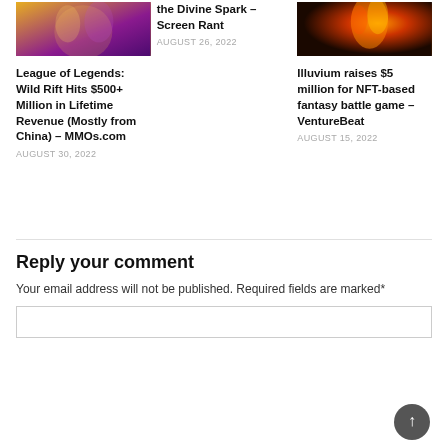[Figure (photo): Game character artwork with purple/yellow background (League of Legends Wild Rift)]
the Divine Spark – Screen Rant
AUGUST 26, 2022
[Figure (photo): Fire/fantasy game artwork with dark background (Illuvium)]
League of Legends: Wild Rift Hits $500+ Million in Lifetime Revenue (Mostly from China) – MMOs.com
AUGUST 30, 2022
Illuvium raises $5 million for NFT-based fantasy battle game – VentureBeat
AUGUST 15, 2022
Reply your comment
Your email address will not be published. Required fields are marked*